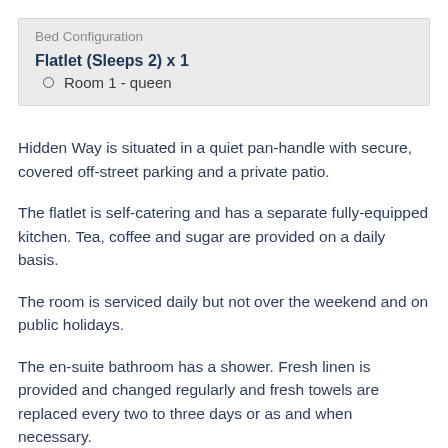Bed Configuration
Flatlet (Sleeps 2) x 1
Room 1 - queen
Hidden Way is situated in a quiet pan-handle with secure, covered off-street parking and a private patio.
The flatlet is self-catering and has a separate fully-equipped kitchen. Tea, coffee and sugar are provided on a daily basis.
The room is serviced daily but not over the weekend and on public holidays.
The en-suite bathroom has a shower. Fresh linen is provided and changed regularly and fresh towels are replaced every two to three days or as and when necessary.
Laundry facilities are available. There is an iron and ironing